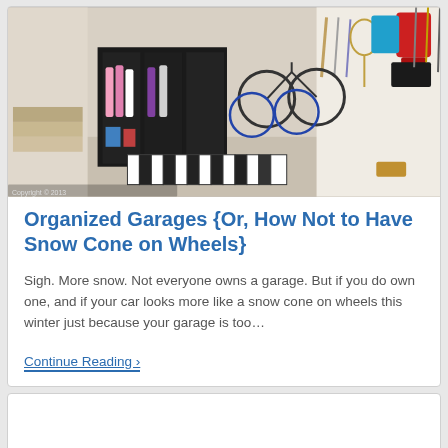[Figure (photo): Interior of an organized garage showing bicycles hanging on a wall, sports equipment, a dark wardrobe/locker unit with children's clothing and bags, a piano keyboard mat on the floor, and various tools and gear hung on white walls.]
Organized Garages {Or, How Not to Have Snow Cone on Wheels}
Sigh. More snow. Not everyone owns a garage. But if you do own one, and if your car looks more like a snow cone on wheels this winter just because your garage is too…
Continue Reading ›